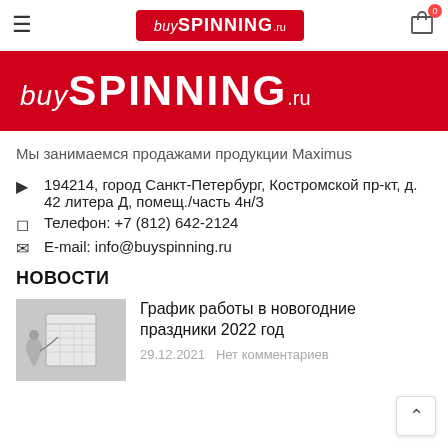buyspinning.ru header with hamburger menu and cart icon
[Figure (logo): BuySPINNING.RU logo on red background banner]
Мы занимаемся продажами продукции Maximus
194214, город Санкт-Петербург, Костромской пр-кт, д. 42 литера Д, помещ./часть 4н/3
Телефон: +7 (812) 642-2124
E-mail: info@buyspinning.ru
НОВОСТИ
[Figure (photo): Person writing on a calendar/planner]
График работы в новогодние праздники 2022 год
29.12.2021  Нет комментариев